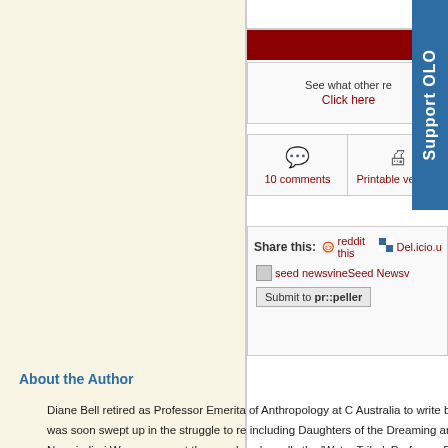Disc
See what other re
Click here
10 comments
Printable version
Share this: reddit this Del.icio.us
seed newsvineSeed Newsv
Submit to pr::peller
About the Author
Diane Bell retired as Professor Emerita of Anthropology at C Australia to write but was soon swept up in the struggle to re including Daughters of the Dreaming and Ngarrindjeri Wurru amongst the peoples she calls the 'Water Tribe'. Professor B University and Visiting Professor in the School of Social Sc